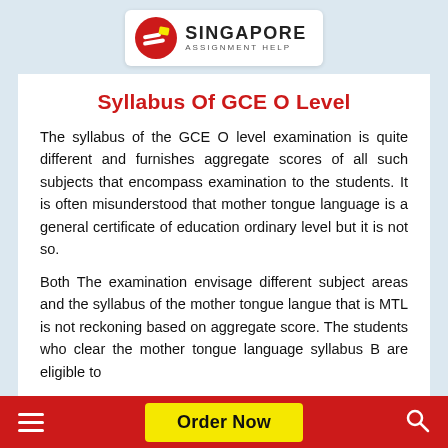Singapore Assignment Help
Syllabus Of GCE O Level
The syllabus of the GCE O level examination is quite different and furnishes aggregate scores of all such subjects that encompass examination to the students. It is often misunderstood that mother tongue language is a general certificate of education ordinary level but it is not so.
Both The examination envisage different subject areas and the syllabus of the mother tongue langue that is MTL is not reckoning based on aggregate score. The students who clear the mother tongue language syllabus B are eligible to
Order Now